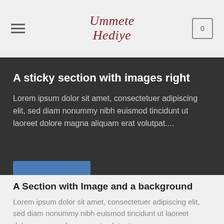Ummete Hediye — navigation header with hamburger menu and cart icon showing 0
A sticky section with images right
Lorem ipsum dolor sit amet, consectetuer adipiscing elit, sed diam nonummy nibh euismod tincidunt ut laoreet dolore magna aliquam erat volutpat....
A Section with Image and a background
Lorem ipsum dolor sit amet, consectetuer adipiscing elit, sed diam nonummy nibh euismod tincidunt ut laoreet dolore magna aliquam erat volutpat....